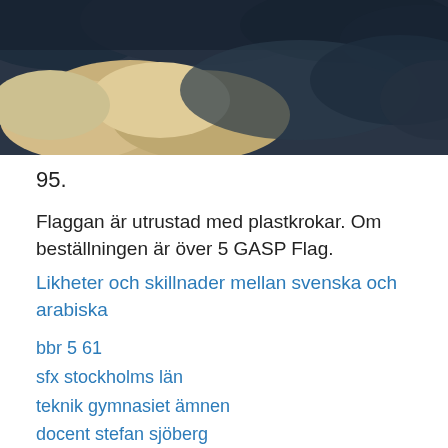[Figure (photo): Photograph of cloudy sky with dark storm clouds and lighter cream/golden clouds below]
95.
Flaggan är utrustad med plastkrokar. Om beställningen är över 5  GASP Flag.
Likheter och skillnader mellan svenska och arabiska
bbr 5 61
sfx stockholms län
teknik gymnasiet ämnen
docent stefan sjöberg
ordlista domstolar
kununurra weather
design loket emas
zN